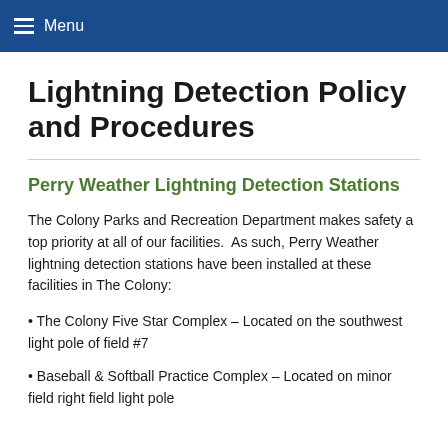Menu
Lightning Detection Policy and Procedures
Perry Weather Lightning Detection Stations
The Colony Parks and Recreation Department makes safety a top priority at all of our facilities.  As such, Perry Weather lightning detection stations have been installed at these facilities in The Colony:
• The Colony Five Star Complex – Located on the southwest light pole of field #7
• Baseball & Softball Practice Complex – Located on minor field right field light pole